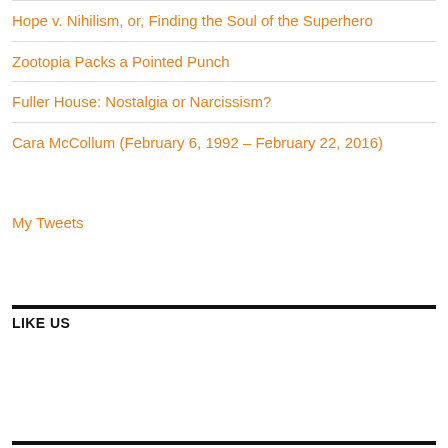Hope v. Nihilism, or, Finding the Soul of the Superhero
Zootopia Packs a Pointed Punch
Fuller House: Nostalgia or Narcissism?
Cara McCollum (February 6, 1992 – February 22, 2016)
My Tweets
LIKE US
META